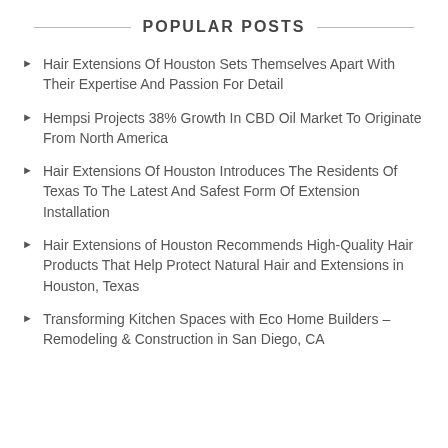POPULAR POSTS
Hair Extensions Of Houston Sets Themselves Apart With Their Expertise And Passion For Detail
Hempsi Projects 38% Growth In CBD Oil Market To Originate From North America
Hair Extensions Of Houston Introduces The Residents Of Texas To The Latest And Safest Form Of Extension Installation
Hair Extensions of Houston Recommends High-Quality Hair Products That Help Protect Natural Hair and Extensions in Houston, Texas
Transforming Kitchen Spaces with Eco Home Builders – Remodeling & Construction in San Diego, CA